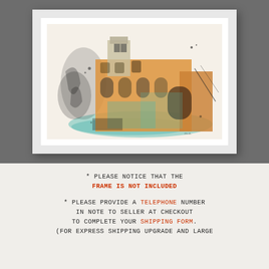[Figure (illustration): A framed watercolor illustration of a historic Mediterranean or Gothic building facade with warm orange and teal tones, shown in a white picture frame against a grey background.]
* Please notice that the FRAME IS NOT INCLUDED
* Please provide a TELEPHONE number in note to seller at checkout to complete your SHIPPING FORM. (For express shipping upgrade and large